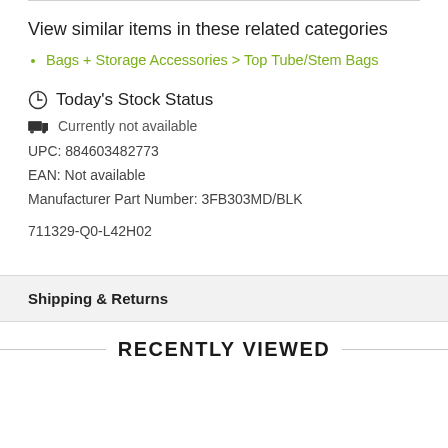View similar items in these related categories
Bags + Storage Accessories > Top Tube/Stem Bags
Today's Stock Status
Currently not available
UPC: 884603482773
EAN: Not available
Manufacturer Part Number: 3FB303MD/BLK
711329-Q0-L42H02
Shipping & Returns
RECENTLY VIEWED